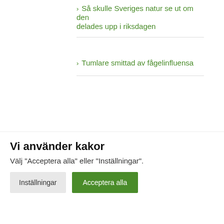Så skulle Sveriges natur se ut om den delades upp i riksdagen
Tumlare smittad av fågelinfluensa
Har du tips, frågor eller synpunkter?
Skriv en kommentar till någon av texterna du har synpunkter på eller skicka ett mejl till erik (snabel-a) natursidan.se
Populära kategorier
Nyheter
Vi använder kakor
Välj "Acceptera alla" eller "Inställningar".